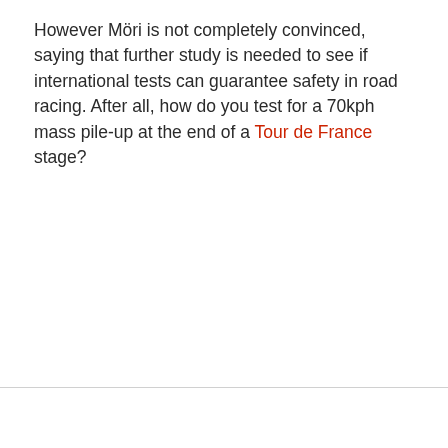However Möri is not completely convinced, saying that further study is needed to see if international tests can guarantee safety in road racing. After all, how do you test for a 70kph mass pile-up at the end of a Tour de France stage?